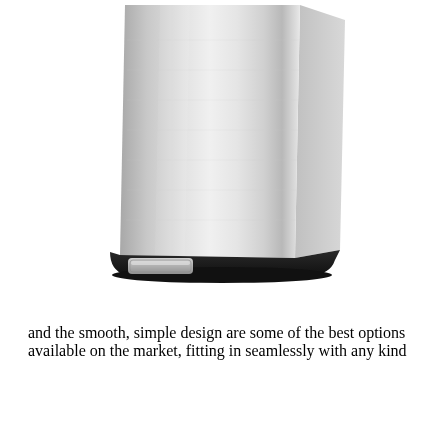[Figure (photo): Close-up photo of a stainless steel step trash can with a silver brushed metal body, black plastic base, and a foot pedal at the bottom front, photographed against a white background.]
and the smooth, simple design are some of the best options available on the market, fitting in seamlessly with any kind